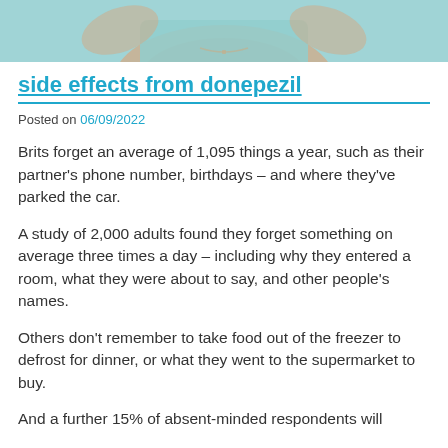[Figure (photo): Cropped bottom portion of a photo showing a person in a light teal/mint top with a necklace, arms raised]
side effects from donepezil
Posted on 06/09/2022
Brits forget an average of 1,095 things a year, such as their partner's phone number, birthdays – and where they've parked the car.
A study of 2,000 adults found they forget something on average three times a day – including why they entered a room, what they were about to say, and other people's names.
Others don't remember to take food out of the freezer to defrost for dinner, or what they went to the supermarket to buy.
And a further 15% of absent-minded respondents will